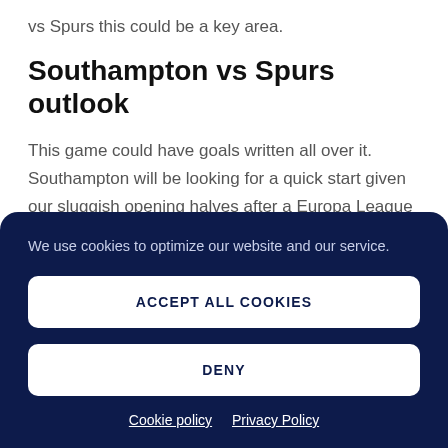vs Spurs this could be a key area.
Southampton vs Spurs outlook
This game could have goals written all over it. Southampton will be looking for a quick start given our sluggish opening halves after a Europa League match; we will be looking to exploit their porous defence.
We use cookies to optimize our website and our service.
ACCEPT ALL COOKIES
DENY
Cookie policy  Privacy Policy